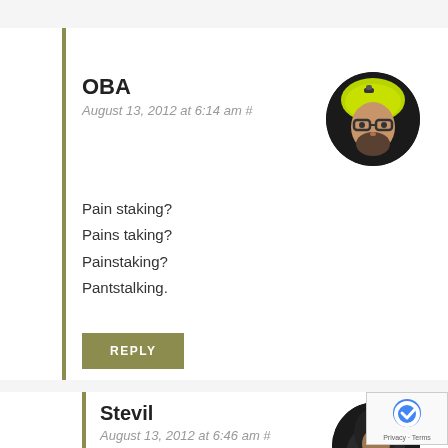OBA
August 13, 2012 at 6:14 am #
Pain staking?
Pains taking?
Painstaking?
Pantstalking.
[Figure (photo): Circular avatar photo of a bearded man wearing a yellow/green cycling helmet and glasses, shown against a dark background]
REPLY
Stevil
August 13, 2012 at 6:46 am #
[Figure (photo): Circular avatar photo of a person in dark clothing with a hood, against a dark background]
Cut me some slack, I wrote...